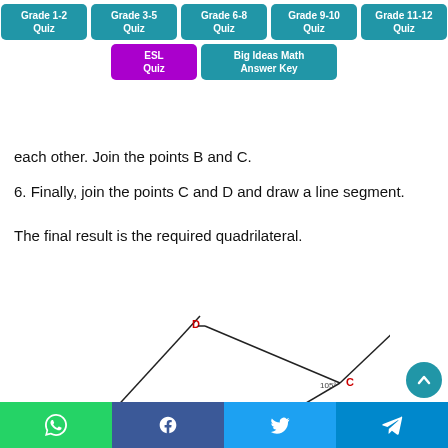Grade 1-2 Quiz | Grade 3-5 Quiz | Grade 6-8 Quiz | Grade 9-10 Quiz | Grade 11-12 Quiz | ESL Quiz | Big Ideas Math Answer Key
each other. Join the points B and C.
6. Finally, join the points C and D and draw a line segment.
The final result is the required quadrilateral.
[Figure (illustration): Geometric diagram showing a quadrilateral construction with points D and C labeled in red, angle of 60° at bottom left, measurement of 12.0 along one side, angle of 105° at C, and 4 cm segment labeled in red.]
Social share bar: WhatsApp, Facebook, Twitter, Telegram